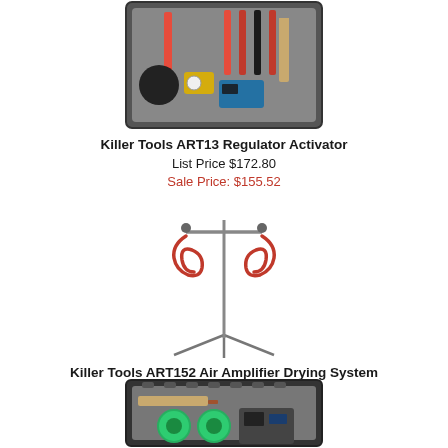[Figure (photo): Killer Tools ART13 Regulator Activator kit in a foam-lined case with test probes and cables]
Killer Tools ART13 Regulator Activator
List Price $172.80
Sale Price: $155.52
[Figure (photo): Killer Tools ART152 Air Amplifier Drying System - a stand with two hanging coiled air amplifier hoses on a tripod]
Killer Tools ART152 Air Amplifier Drying System
List Price: $339.00
Sale Price: $276.75
[Figure (photo): Tool kit in a foam-lined hard case with various tools including copper tip and green circular components]